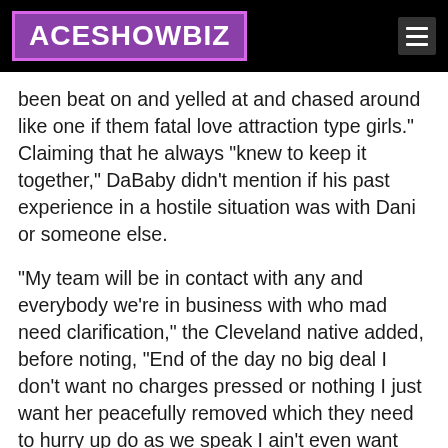ACESHOWBIZ
been beat on and yelled at and chased around like one if them fatal love attraction type girls." Claiming that he always "knew to keep it together," DaBaby didn't mention if his past experience in a hostile situation was with Dani or someone else.
"My team will be in contact with any and everybody we're in business with who mad need clarification," the Cleveland native added, before noting, "End of the day no big deal I don't want no charges pressed or nothing I just want her peacefully removed which they need to hurry up do as we speak I ain't even want that behavior on display but it's okay man this too shall pass it's all good."